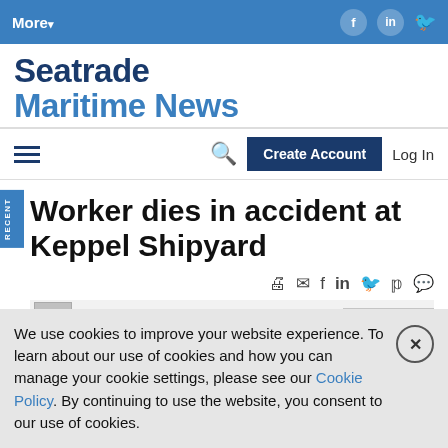More▾ [social icons: Facebook, LinkedIn, Twitter]
Seatrade Maritime News
[hamburger menu] [search icon] Create Account  Log In
Worker dies in accident at Keppel Shipyard
Keppel Shipyard aerial view  Photos: Keppel
We use cookies to improve your website experience. To learn about our use of cookies and how you can manage your cookie settings, please see our Cookie Policy. By continuing to use the website, you consent to our use of cookies.